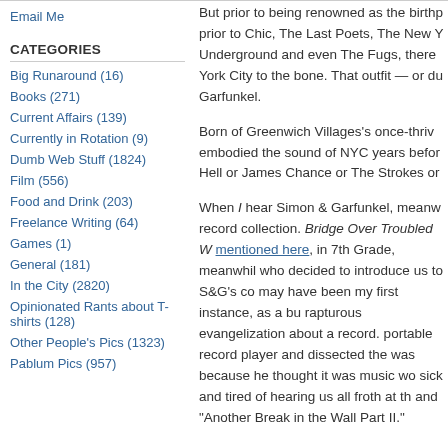Email Me
CATEGORIES
Big Runaround (16)
Books (271)
Current Affairs (139)
Currently in Rotation (9)
Dumb Web Stuff (1824)
Film (556)
Food and Drink (203)
Freelance Writing (64)
Games (1)
General (181)
In the City (2820)
Opinionated Rants about T-shirts (128)
Other People's Pics (1323)
Pablum Pics (957)
But prior to being renowned as the birthp prior to Chic, The Last Poets, The New Y Underground and even The Fugs, there York City to the bone. That outfit — or du Garfunkel.
Born of Greenwich Villages's once-thriv embodied the sound of NYC years befor Hell or James Chance or The Strokes or
When I hear Simon & Garfunkel, meanw record collection. Bridge Over Troubled W mentioned here, in 7th Grade, meanwhil who decided to introduce us to S&G's co may have been my first instance, as a bu rapturous evangelization about a record. portable record player and dissected the was because he thought it was music wo sick and tired of hearing us all froth at th and "Another Break in the Wall Part II."
By and large it worked, though. While I p same list of NYC favorites as, say, the Ji Shoot Cop, I do love me some Simon &